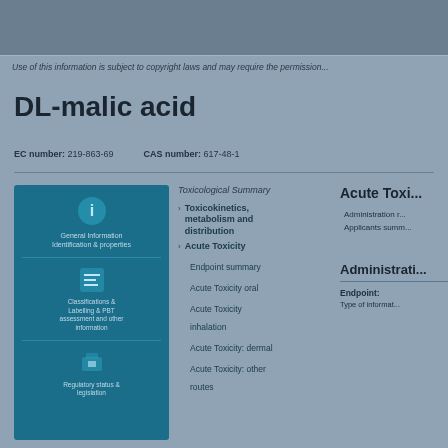Use of this information is subject to copyright laws and may require the permission...
DL-malic acid
EC number: 219-863-69   CAS number: 617-48-1
[Figure (infographic): Teal info panel with icons for chemical substance information, classifications, and regulatory links]
Toxicological Summary
Toxicokinetics, metabolism and distribution
Acute Toxicity
Endpoint summary
Acute Toxicity oral
Acute Toxicity inhalation
Acute Toxicity: dermal
Acute Toxicity: other routes
Acute Toxi...
Administration r...
Applicants summ...
Administrati...
Endpoint:
Type of informat...